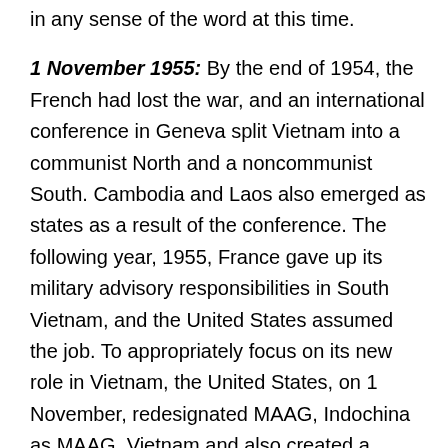in any sense of the word at this time.
1 November 1955: By the end of 1954, the French had lost the war, and an international conference in Geneva split Vietnam into a communist North and a noncommunist South. Cambodia and Laos also emerged as states as a result of the conference. The following year, 1955, France gave up its military advisory responsibilities in South Vietnam, and the United States assumed the job. To appropriately focus on its new role in Vietnam, the United States, on 1 November, redesignated MAAG, Indochina as MAAG, Vietnam and also created a MAAG, Cambodia. MAAG, Vietnam then became the main conduit for American military assistance to South Vietnam and, as well, the organization responsible for advising and training the South Vietnamese military. American influence experienced a substantial increase in the second half of